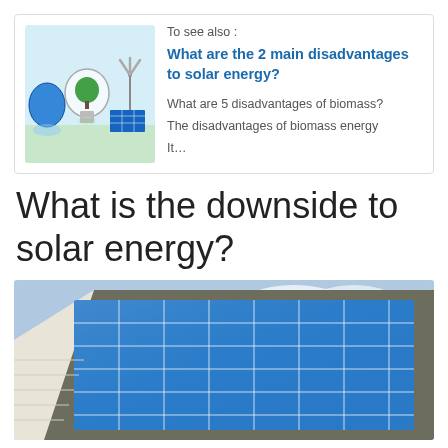To see also :
What are the 2 main disadvantages to solar energy?
What are 5 disadvantages of biomass?
The disadvantages of biomass energy
It…
What is the downside to solar energy?
[Figure (photo): House rooftop with blue solar panels installed, blue sky and green tree in background]